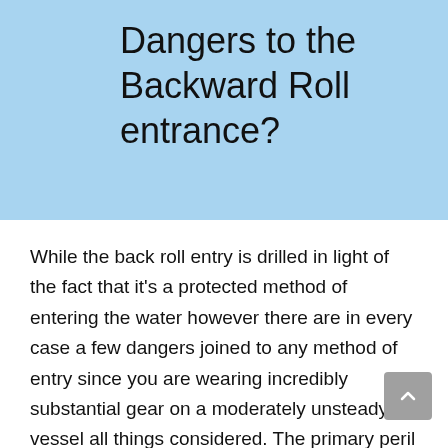Dangers to the Backward Roll entrance?
While the back roll entry is drilled in light of the fact that it's a protected method of entering the water however there are in every case a few dangers joined to any method of entry since you are wearing incredibly substantial gear on a moderately unsteady vessel all things considered. The primary peril of in reverse roll is hitting somebody when you enter.